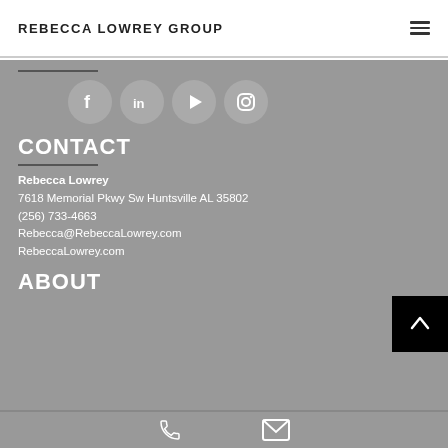REBECCA LOWREY GROUP
[Figure (infographic): Four social media icons (Facebook, LinkedIn, YouTube, Instagram) in gray circles on a gray background]
CONTACT
Rebecca Lowrey
7618 Memorial Pkwy Sw Huntsville AL 35802
(256) 733-4663
Rebecca@RebeccaLowrey.com
RebeccaLowrey.com
ABOUT
Phone and email icons